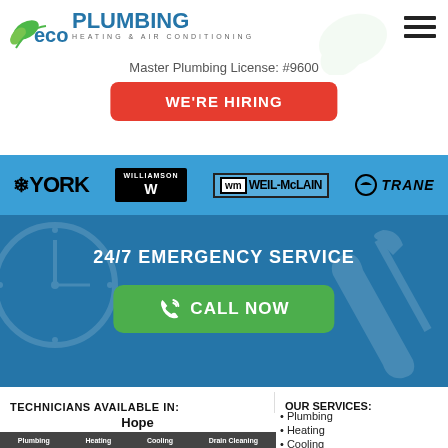[Figure (logo): Eco Plumbing Heating & Air Conditioning logo with green leaf and blue/red text]
Master Plumbing License: #9600
WE'RE HIRING
[Figure (infographic): Brand logos bar: YORK, Williamson, Weil-McLain, Trane on blue background]
24/7 EMERGENCY SERVICE
CALL NOW
TECHNICIANS AVAILABLE IN:
Hope
OUR SERVICES:
Plumbing
Heating
Cooling
Drain Cleaning
[Figure (photo): Service categories strip showing Plumbing, Heating, Cooling, Drain Cleaning photo tiles]